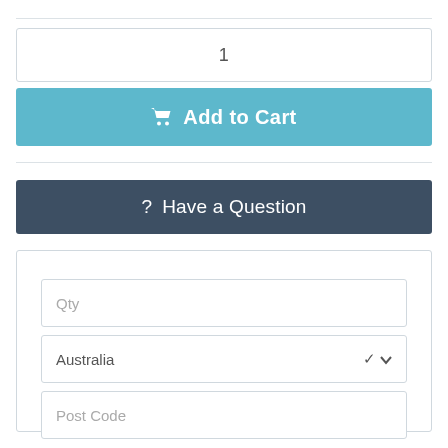1
Add to Cart
Have a Question
Qty
Australia
Post Code
Calculate